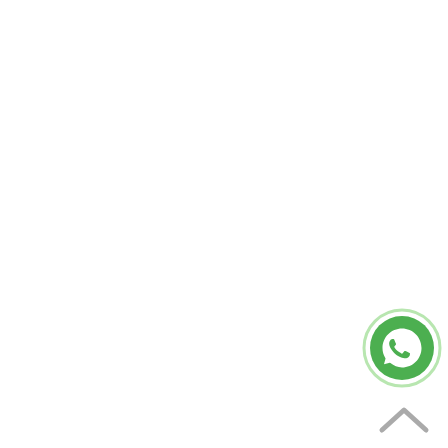[Figure (logo): WhatsApp icon button: a green circle with a white WhatsApp phone-in-speech-bubble logo, surrounded by a light green ring outline. Located in the bottom-right corner of the page.]
[Figure (other): A grey upward-pointing chevron/caret arrow (scroll-to-top button) located below the WhatsApp icon in the bottom-right corner.]